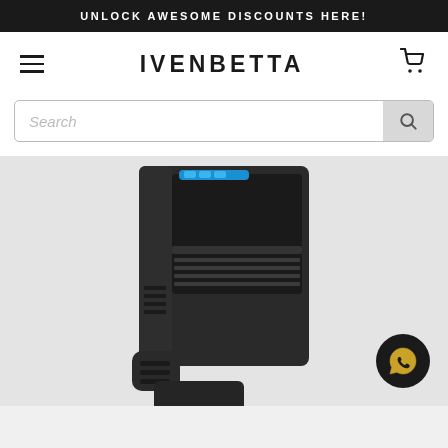UNLOCK AWESOME DISCOUNTS HERE!
IVENBETTA
[Figure (screenshot): Search bar with placeholder text 'Search' and a search button on the right]
[Figure (photo): Black aquarium canister filter product photo against a light grey background, showing the filter unit with blue indicator lights and filter media compartment open. A WhatsApp contact button appears in the bottom right corner.]